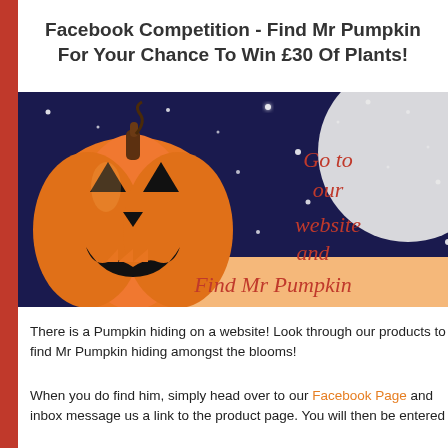Facebook Competition - Find Mr Pumpkin For Your Chance To Win £30 Of Plants!
[Figure (illustration): Halloween themed graphic with a jack-o-lantern pumpkin on a dark starry night background with a large moon. Red italic text reads 'Go to our website and'. An orange banner at the bottom reads 'Find Mr Pumpkin' in red italic script.]
There is a Pumpkin hiding on a website! Look through our products to find Mr Pumpkin hiding amongst the blooms!
When you do find him, simply head over to our Facebook Page and inbox message us a link to the product page. You will then be entered